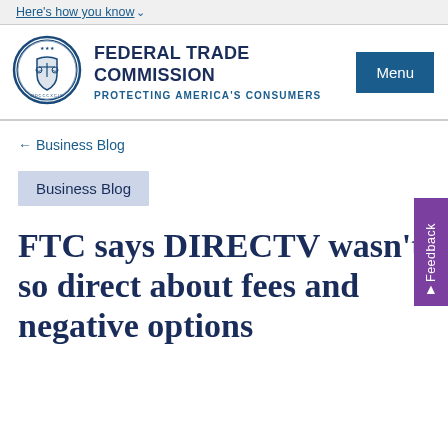Here's how you know
[Figure (logo): Federal Trade Commission seal/logo — circular blue seal with scales of justice]
FEDERAL TRADE COMMISSION
PROTECTING AMERICA'S CONSUMERS
Menu
← Business Blog
Feedback
Business Blog
FTC says DIRECTV wasn't so direct about fees and negative options